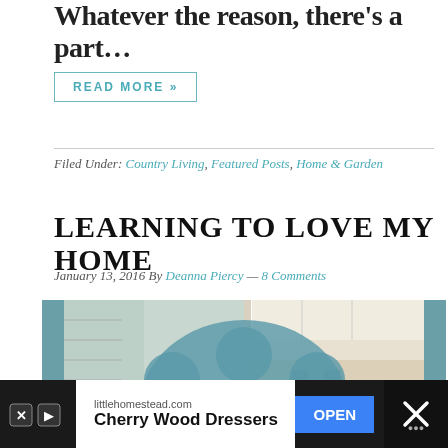Whatever the reason, there's a part…
READ MORE »
Filed Under: Country Living, Featured Posts, Home & Garden
LEARNING TO LOVE MY HOME
January 13, 2016 By Deanna Piercy — 8 Comments
[Figure (photo): Collage image with a kitchen photo, outdoor area, dark lower section, and an overlaid teal cloud shape with 'love Your' text in white script]
littlehomestead.com Cherry Wood Dressers OPEN